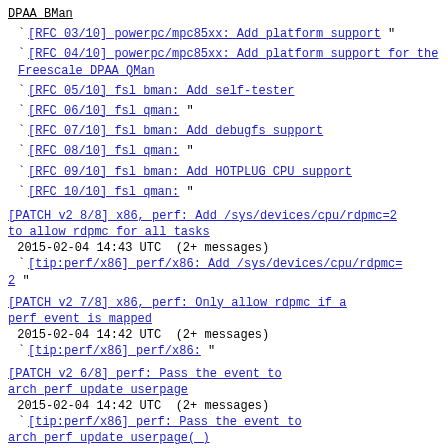DPAA BMan
[RFC 03/10] powerpc/mpc85xx: Add platform support "
[RFC 04/10] powerpc/mpc85xx: Add platform support for the Freescale DPAA QMan
[RFC 05/10] fsl bman: Add self-tester
[RFC 06/10] fsl qman: "
[RFC 07/10] fsl bman: Add debugfs support
[RFC 08/10] fsl qman: "
[RFC 09/10] fsl bman: Add HOTPLUG CPU support
[RFC 10/10] fsl qman: "
[PATCH v2 8/8] x86, perf: Add /sys/devices/cpu/rdpmc=2 to allow rdpmc for all tasks
2015-02-04 14:43 UTC  (2+ messages)
  [tip:perf/x86] perf/x86: Add /sys/devices/cpu/rdpmc=2 "
[PATCH v2 7/8] x86, perf: Only allow rdpmc if a perf event is mapped
2015-02-04 14:42 UTC  (2+ messages)
  [tip:perf/x86] perf/x86: "
[PATCH v2 6/8] perf: Pass the event to arch_perf_update_userpage
2015-02-04 14:42 UTC  (2+ messages)
  [tip:perf/x86] perf: Pass the event to arch_perf_update_userpage(_)
[PATCH v2 5/8] perf: Add pmu callbacks to track event mapping and unmapping